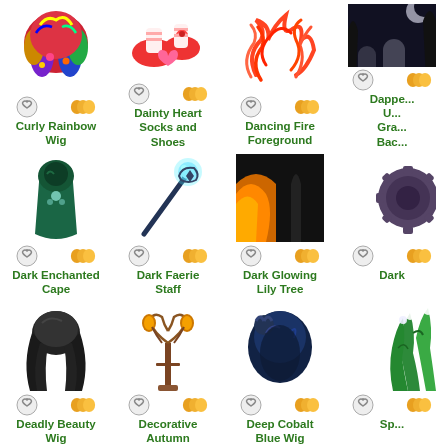[Figure (illustration): Curly Rainbow Wig item icon with colorful curly hair]
Curly Rainbow Wig
[Figure (illustration): Dainty Heart Socks and Shoes item icon with red shoes and heart]
Dainty Heart Socks and Shoes
[Figure (illustration): Dancing Fire Foreground item icon with red flame swirls]
Dancing Fire Foreground
[Figure (illustration): Dapper item partially visible, graveyard background]
Dapper U... Gra... Bac...
[Figure (illustration): Dark Enchanted Cape item icon with teal hooded cape]
Dark Enchanted Cape
[Figure (illustration): Dark Faerie Staff item icon with blue orb staff]
Dark Faerie Staff
[Figure (illustration): Dark Glowing Lily Tree item icon with fire and dark background]
Dark Glowing Lily Tree
[Figure (illustration): Dark item partially visible with gear/cog shape]
Dark
[Figure (illustration): Deadly Beauty Wig item icon with long dark hair]
Deadly Beauty Wig
[Figure (illustration): Decorative Autumn item icon with ornate lamp post]
Decorative Autumn
[Figure (illustration): Deep Cobalt Blue Wig item icon with dark blue voluminous hair]
Deep Cobalt Blue Wig
[Figure (illustration): Partially visible green plant item]
Sp...